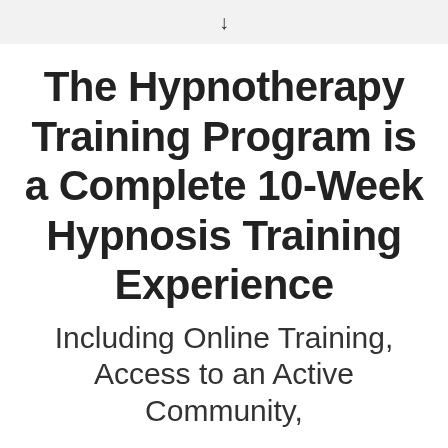↓
The Hypnotherapy Training Program is a Complete 10-Week Hypnosis Training Experience
Including Online Training, Access to an Active Community,